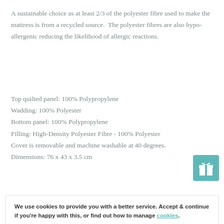A sustainable choice as at least 2/3 of the polyester fibre used to make the mattress is from a recycled source.  The polyester fibres are also hypo-allergenic reducing the likelihood of allergic reactions.
Top quilted panel: 100% Polypropylene
Wadding: 100% Polyester
Bottom panel: 100% Polypropylene
Filling: High-Density Polyester Fibre - 100% Polyester
Cover is removable and machine washable at 40 degrees.
Dimensions: 76 x 43 x 3.5 cm
Made with love in Great Britain.
We use cookies to provide you with a better service. Accept & continue if you're happy with this, or find out how to manage cookies.
Also misspelt as bedside crib matress, crib matress or